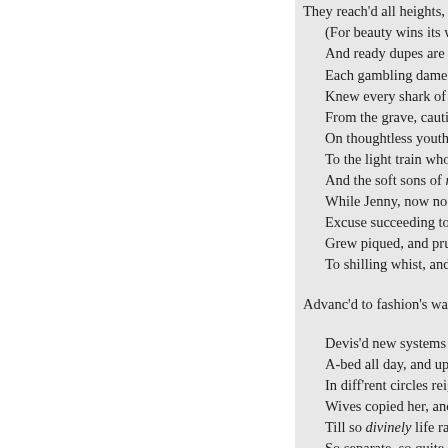They reach'd all heights, an
(For beauty wins its way, un
And ready dupes are ne'er b
Each gambling dame she kn
Knew every shark of quality
From the grave, cautious fe
On thoughtless youth, and l
To the light train who mimi
And the soft sons of noncha
While Jenny, now no more 
Excuse succeeding to excus
Grew piqued, and prudently
To shilling whist, and chick
Advanc'd to fashion's wav'ring h
Devis'd new systems of deli
A-bed all day, and up all nig
In diff'rent circles reign'd su
Wives copied her, and husba
Till so divinely life ran on,
So separate, so quite bon-to
That meeting in a public pla
They scarcely knew each ot